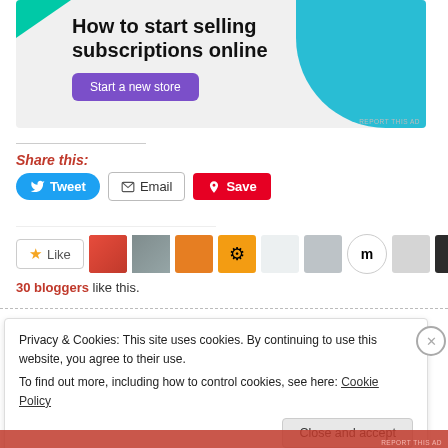[Figure (infographic): Advertisement banner: 'How to start selling subscriptions online' with a purple 'Start a new store' button, teal corner decoration top-left, blue curved shape top-right on light gray background.]
Share this:
[Figure (infographic): Social share buttons: Tweet (blue), Email (outlined), Save (red Pinterest)]
[Figure (infographic): Like button and blogger avatar row showing 30 bloggers like this]
30 bloggers like this.
Privacy & Cookies: This site uses cookies. By continuing to use this website, you agree to their use.
To find out more, including how to control cookies, see here: Cookie Policy
Close and accept